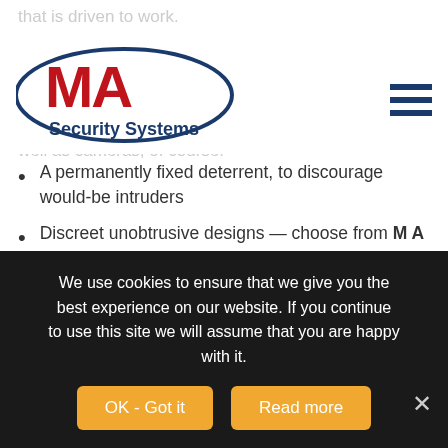MA Security Systems
[Figure (logo): MA Security Systems logo with red MA letters inside a blue oval, and 'Security Systems' text below]
that is driven to work. of vision, and the image minute detail, capture than a prosecution case Recorders as well as cameras, of course!
A permanently fixed deterrent, to discourage would-be intruders
Discreet unobtrusive designs — choose from M A Security's diverse range of systems: intelligent CCTV technology at its best
HD images and video — we design and install CCTV systems that are all within the customer's budget, from a 4-channel analogue
We use cookies to ensure that we give you the best experience on our website. If you continue to use this site we will assume that you are happy with it.
OK - Got it | Read more